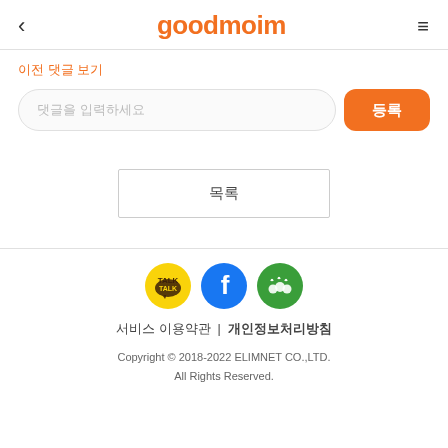goodmoim
이전 댓글 보기
댓글을 입력하세요
등록
목록
[Figure (logo): Three social media icons: KakaoTalk (yellow), Facebook (blue), and Goodmoim/Naver Band (green)]
서비스 이용약관  |  개인정보처리방침
Copyright © 2018-2022 ELIMNET CO.,LTD. All Rights Reserved.